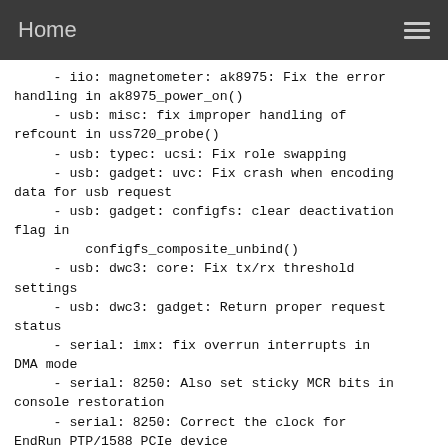Home
- iio: magnetometer: ak8975: Fix the error handling in ak8975_power_on()
- usb: misc: fix improper handling of refcount in uss720_probe()
- usb: typec: ucsi: Fix role swapping
- usb: gadget: uvc: Fix crash when encoding data for usb request
- usb: gadget: configfs: clear deactivation flag in configfs_composite_unbind()
- usb: dwc3: core: Fix tx/rx threshold settings
- usb: dwc3: gadget: Return proper request status
- serial: imx: fix overrun interrupts in DMA mode
- serial: 8250: Also set sticky MCR bits in console restoration
- serial: 8250: Correct the clock for EndRun PTP/1588 PCIe device